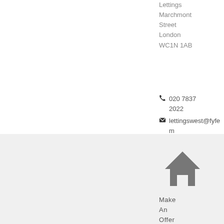Lettings
Marchmont Street
London
WC1N 1AB
020 7837 2022
lettingswest@fyfe m...
[Figure (illustration): Grey house icon]
Make An Offer On This Prope r...